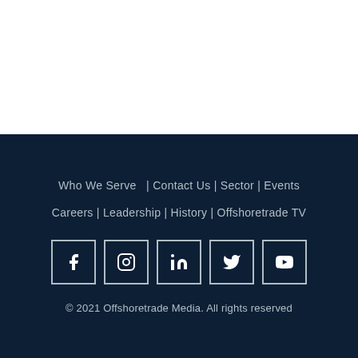Who We Serve  | Contact Us | Sector | Events
Careers | Leadership | History | Offshoretrade TV
[Figure (other): Social media icons: Facebook, Instagram, LinkedIn, Twitter, YouTube]
© 2021 Offshoretrade Media. All rights reserved